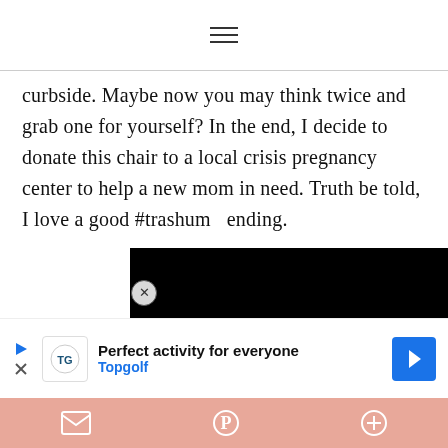≡ (hamburger menu icon)
curbside. Maybe now you may think twice and grab one for yourself? In the end, I decide to donate this chair to a local crisis pregnancy center to help a new mom in need. Truth be told, I love a good #trashum... ending.
[Figure (screenshot): Black video player overlay with close button and thumbnail strip showing muted video icon]
[Figure (screenshot): Topgolf advertisement banner: 'Perfect activity for everyone - Topgolf' with logo and blue arrow button, with play/close controls]
[Figure (screenshot): Bottom share bar with email, Pinterest, and plus icons on salmon/coral background]